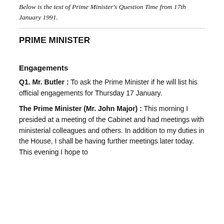Below is the text of Prime Minister's Question Time from 17th January 1991.
PRIME MINISTER
Engagements
Q1. Mr. Butler : To ask the Prime Minister if he will list his official engagements for Thursday 17 January.
The Prime Minister (Mr. John Major) : This morning I presided at a meeting of the Cabinet and had meetings with ministerial colleagues and others. In addition to my duties in the House, I shall be having further meetings later today. This evening I hope to